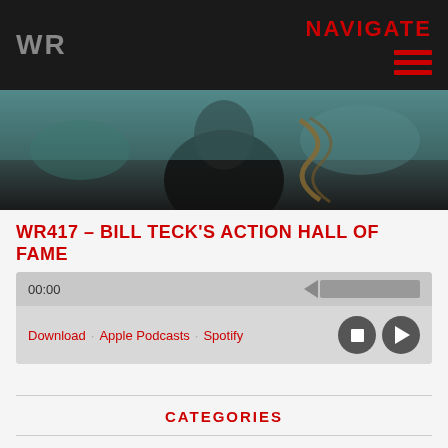WR   NAVIGATE
[Figure (photo): Hero image showing a person in an action scene, teal/dark tones]
WR417 – BILL TECK'S ACTION HALL OF FAME
[Figure (screenshot): Audio player widget showing 00:00 timestamp, progress bar, Download, Apple Podcasts, Spotify links, stop and play controls]
CATEGORIES